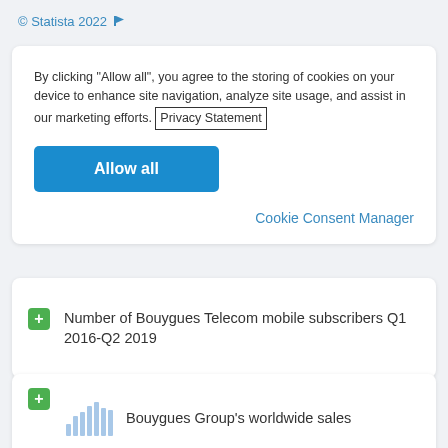© Statista 2022
By clicking “Allow all”, you agree to the storing of cookies on your device to enhance site navigation, analyze site usage, and assist in our marketing efforts. Privacy Statement
Allow all
Cookie Consent Manager
Number of Bouygues Telecom mobile subscribers Q1 2016-Q2 2019
Bouygues Group's worldwide sales